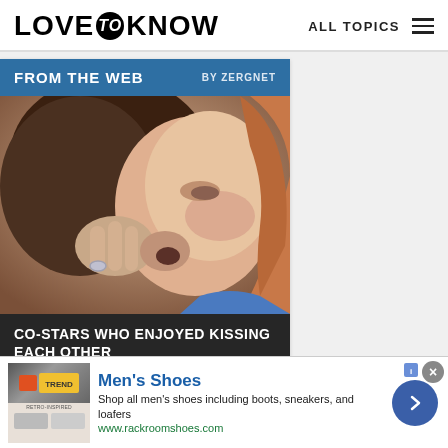LOVE to KNOW   ALL TOPICS
FROM THE WEB   BY ZERGNET
[Figure (photo): Close-up photo of two people kissing, woman with reddish hair visible on right, hands visible on left]
CO-STARS WHO ENJOYED KISSING EACH OTHER
Men's Shoes
Shop all men's shoes including boots, sneakers, and loafers
www.rackroomshoes.com